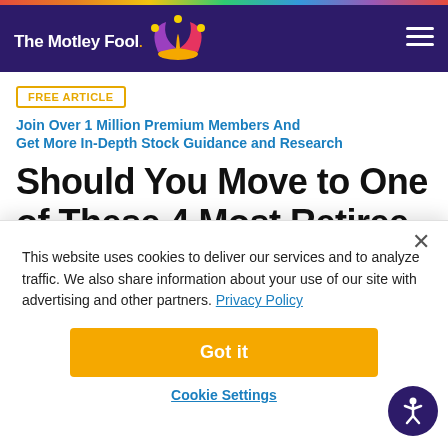The Motley Fool
FREE ARTICLE  Join Over 1 Million Premium Members And Get More In-Depth Stock Guidance and Research
Should You Move to One of These 4 Most Retiree-Friendly States?
This website uses cookies to deliver our services and to analyze traffic. We also share information about your use of our site with advertising and other partners. Privacy Policy
Got it
Cookie Settings